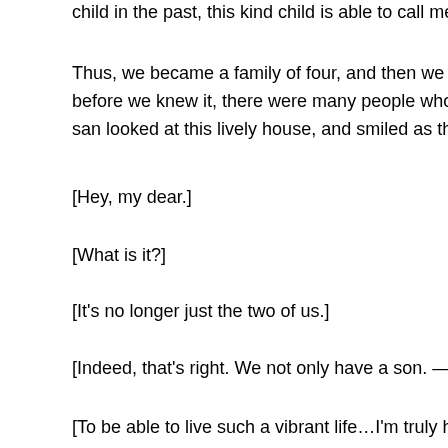child in the past, this kind child is able to call me her nana. Yes, ov
Thus, we became a family of four, and then we increased by one m before we knew it, there were many people who sat around the dinn san looked at this lively house, and smiled as they exchanged a gla
[Hey, my dear.]
[What is it?]
[It's no longer just the two of us.]
[Indeed, that's right. We not only have a son. —We also have many
[To be able to live such a vibrant life…I'm truly happy.]
[The twenty five years that I spent with you—. Although it's been ver
[…I want to watch for a little longer.]